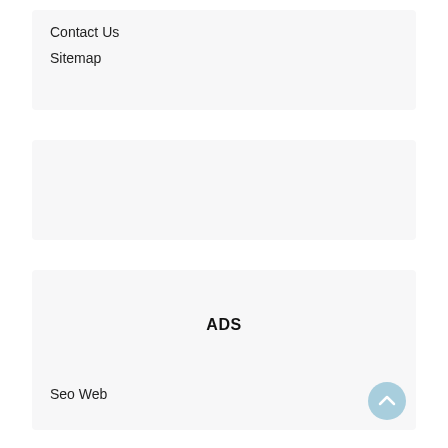Contact Us
Sitemap
[Figure (other): Empty light gray placeholder box]
ADS
Seo Web